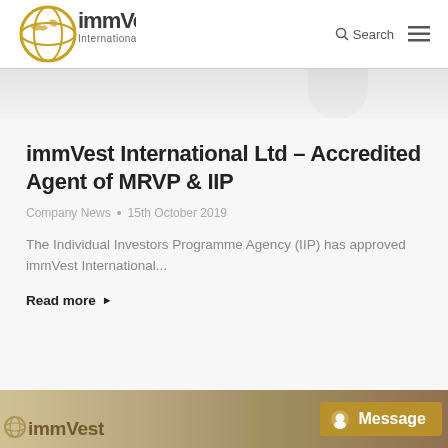[Figure (logo): immVest International Ltd. logo with globe icon]
Search  ≡
[Figure (photo): Light grey background hero image strip]
immVest International Ltd – Accredited Agent of MRVP & IIP
Company News • 15th October 2019
The Individual Investors Programme Agency (IIP) has approved immVest International...
Read more ▸
[Figure (photo): Bottom banner with immVest branding and Message button]